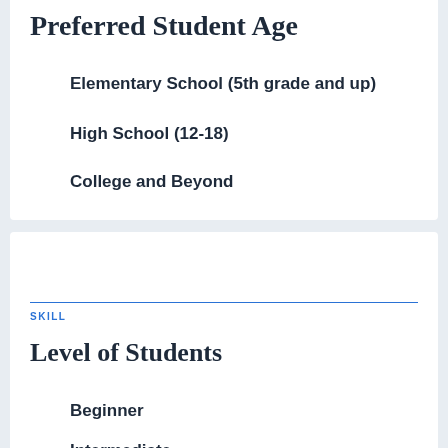Preferred Student Age
Elementary School (5th grade and up)
High School (12-18)
College and Beyond
SKILL
Level of Students
Beginner
Intermediate